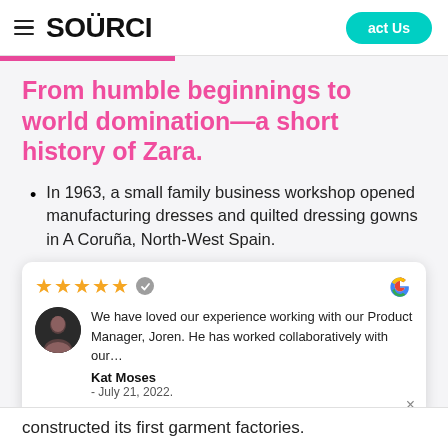SOURCI — act Us (Contact Us button)
From humble beginnings to world domination—a short history of Zara.
In 1963, a small family business workshop opened manufacturing dresses and quilted dressing gowns in A Coruña, North-West Spain.
[Figure (other): Google review card with 5 yellow stars, verified badge, Google logo, and avatar photo of Kat Moses. Review text: 'We have loved our experience working with our Product Manager, Joren. He has worked collaboratively with our…' Author: Kat Moses, Date: - July 21, 2022.]
constructed its first garment factories.